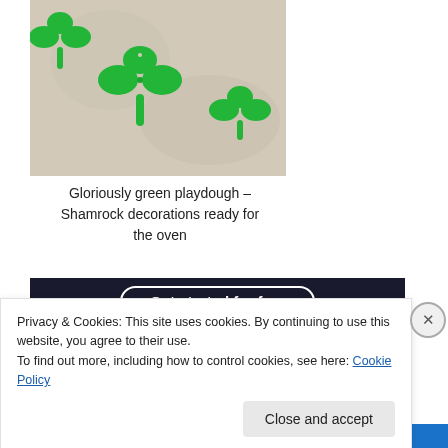[Figure (photo): Green shamrock shapes made from playdough on white/cream parchment paper background, photographed from above]
Gloriously green playdough – Shamrock decorations ready for the oven
[Figure (screenshot): Dark navy banner with a 'Get started for free' button outlined in white with rounded border]
Privacy & Cookies: This site uses cookies. By continuing to use this website, you agree to their use.
To find out more, including how to control cookies, see here: Cookie Policy
Close and accept